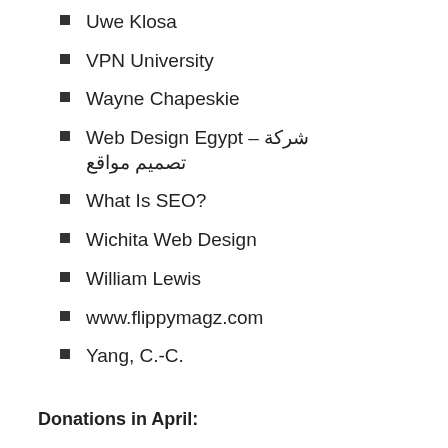Uwe Klosa
VPN University
Wayne Chapeskie
Web Design Egypt – شركة تصميم مواقع
What Is SEO?
Wichita Web Design
William Lewis
www.flippymagz.com
Yang, C.-C.
Donations in April: